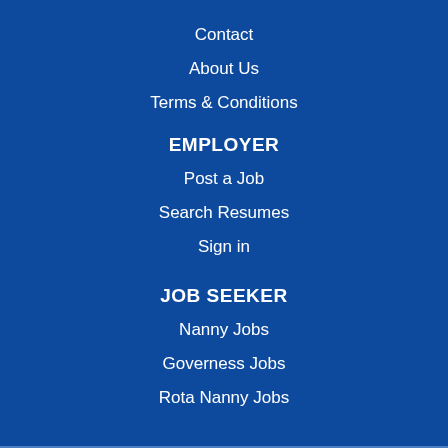Contact
About Us
Terms & Conditions
EMPLOYER
Post a Job
Search Resumes
Sign in
JOB SEEKER
Nanny Jobs
Governess Jobs
Rota Nanny Jobs